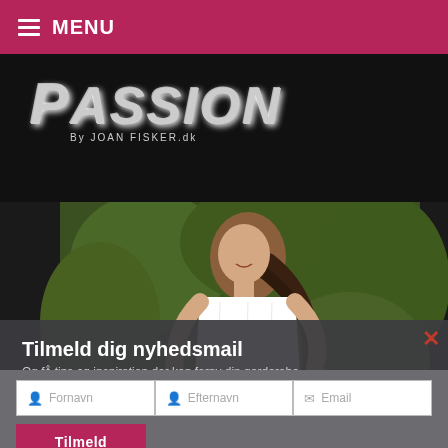MENU
[Figure (logo): Fashion blog logo reading 'PASSION By JOAN FISKER.dk' on black background]
[Figure (photo): Young woman in white strapless dress standing outdoors in front of green foliage, smiling]
Tilmeld dig nyhedsmail
Og få tips og inspiration der kan forny din garderobe
Fornavn	Efternavn	Email
Tilmeld